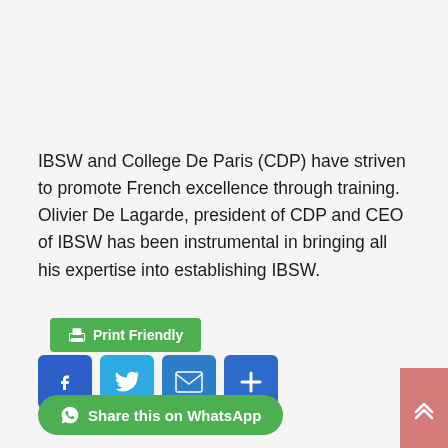IBSW and College De Paris (CDP) have striven to promote French excellence through training. Olivier De Lagarde, president of CDP and CEO of IBSW has been instrumental in bringing all his expertise into establishing IBSW.
[Figure (other): Green Print Friendly button with printer icon]
[Figure (other): Social share buttons: Facebook (blue), Twitter (light blue), Email (blue), Share/Plus (blue)]
[Figure (other): Green Share this on WhatsApp button with WhatsApp icon]